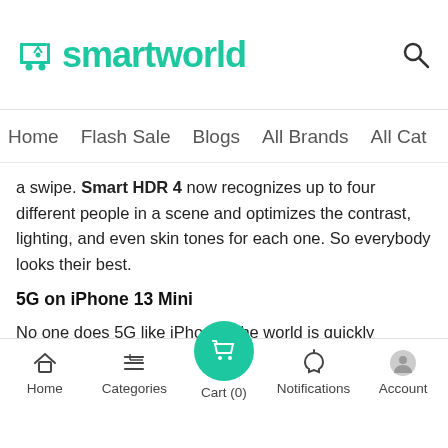smartworld
Home  Flash Sale  Blogs  All Brands  All Cat
a swipe. Smart HDR 4 now recognizes up to four different people in a scene and optimizes the contrast, lighting, and even skin tones for each one. So everybody looks their best.
5G on iPhone 13 Mini
No one does 5G like iPhone. The world is quickly moving to 5G. Streaming, downloading — everything happens so much faster. 5G is even fast enough for serious multiplayer gaming, sharing AR videos, and more. With Smart Data mode, iPhone will downshift automatically to save power when you don't need all that speed. More 5G bands for 5G speed in more places.
Smooth Software
In touch At the Moment. iOS 15 lets you keep the conversation going while streaming movies, music, or
Home  Categories  Cart (0)  Notifications  Account